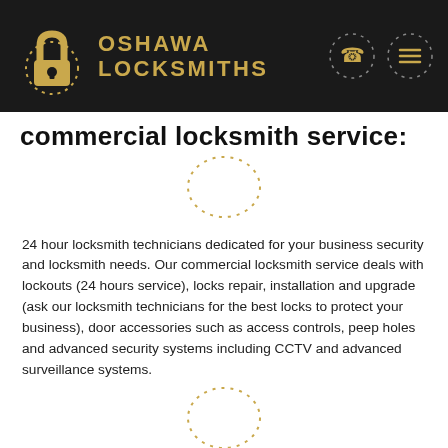[Figure (logo): Oshawa Locksmiths logo: padlock icon with dotted circular border and golden text 'OSHAWA LOCKSMITHS' on dark background header]
commercial locksmith service:
[Figure (illustration): Decorative dotted outline of a padlock shape in gold/yellow dots]
24 hour locksmith technicians dedicated for your business security and locksmith needs. Our commercial locksmith service deals with lockouts (24 hours service), locks repair, installation and upgrade (ask our locksmith technicians for the best locks to protect your business), door accessories such as access controls, peep holes and advanced security systems including CCTV and advanced surveillance systems.
[Figure (illustration): Decorative dotted outline of a padlock shape in gold/yellow dots]
auto locksmith oshawa:
Our Oshawa Locksmiths team will get to you as soon as